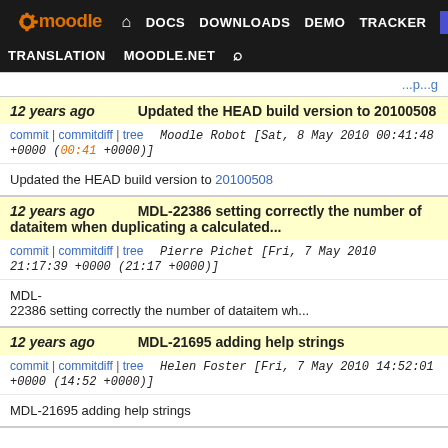moodle DOCS DOWNLOADS DEMO TRACKER DEV TRANSLATION MOODLE.NET [search]
12 years ago   Updated the HEAD build version to 20100508
commit | commitdiff | tree   Moodle Robot [Sat, 8 May 2010 00:41:48 +0000 (00:41 +0000)]
Updated the HEAD build version to 20100508
12 years ago   MDL-22386 setting correctly the number of dataitem when duplicating a calculated...
commit | commitdiff | tree   Pierre Pichet [Fri, 7 May 2010 21:17:39 +0000 (21:17 +0000)]
MDL-22386 setting correctly the number of dataitem wh...
12 years ago   MDL-21695 adding help strings
commit | commitdiff | tree   Helen Foster [Fri, 7 May 2010 14:52:01 +0000 (14:52 +0000)]
MDL-21695 adding help strings